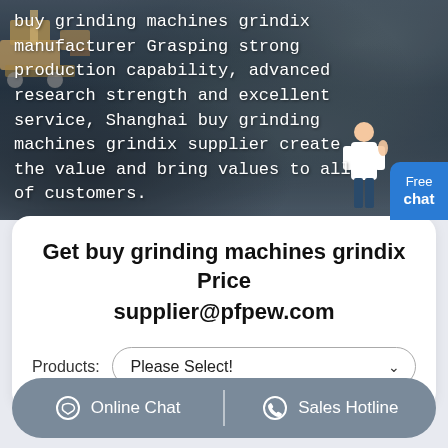[Figure (photo): Aerial view of a quarry or mining site with rocky terrain, machinery visible in top-left corner, and a customer service character figure on the right side. Text overlay with white monospace font describes grinding machines. A blue 'Free chat' button is in the bottom-right corner.]
buy grinding machines grindix manufacturer Grasping strong production capability, advanced research strength and excellent service, Shanghai buy grinding machines grindix supplier create the value and bring values to all of customers.
Get buy grinding machines grindix Price supplier@pfpew.com
Products: Please Select!
Online Chat | Sales Hotline